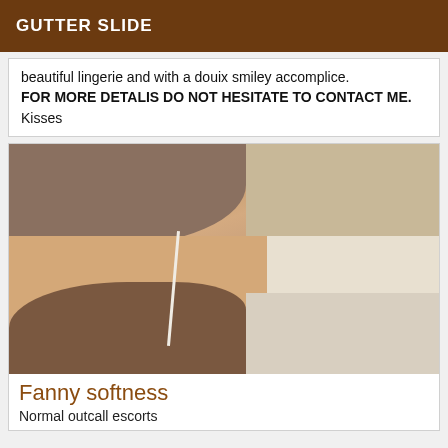GUTTER SLIDE
beautiful lingerie and with a douix smiley accomplice. FOR MORE DETALIS DO NOT HESITATE TO CONTACT ME. Kisses
[Figure (photo): Close-up photo of a person wearing grey shorts and brown shoes with holes, lying near white bedding/pages]
Fanny softness
Normal outcall escorts